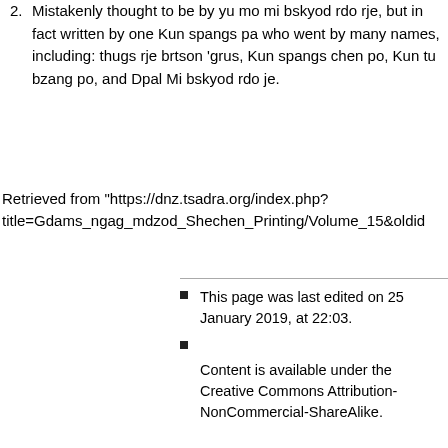2. Mistakenly thought to be by yu mo mi bskyod rdo rje, but in fact written by one Kun spangs pa who went by many names, including: thugs rje brtson 'grus, Kun spangs chen po, Kun tu bzang po, and Dpal Mi bskyod rdo je.
Retrieved from "https://dnz.tsadra.org/index.php?title=Gdams_ngag_mdzod_Shechen_Printing/Volume_15&oldid
This page was last edited on 25 January 2019, at 22:03.
Content is available under the Creative Commons Attribution-NonCommercial-ShareAlike.